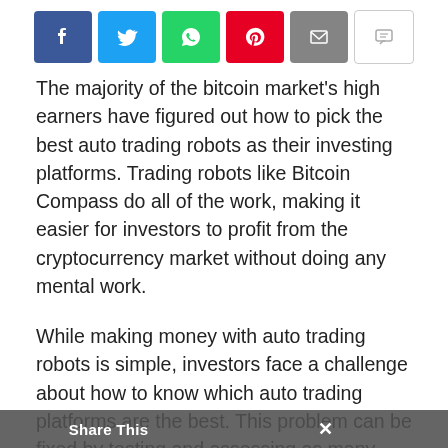[Figure (infographic): Social sharing button bar with icons for Facebook, Twitter, WhatsApp, Pinterest, Email, and Comment]
The majority of the bitcoin market's high earners have figured out how to pick the best auto trading robots as their investing platforms. Trading robots like Bitcoin Compass do all of the work, making it easier for investors to profit from the cryptocurrency market without doing any mental work.
While making money with auto trading robots is simple, investors face a challenge about how to know which auto trading platforms are the best. This problem can be fixed by testing and assessing as many auto trading programs as possible. Bitcoin compass is a fantastic automated trading strategy that can help people profit from the bitcoin market.
Bitcoin Compass is a trading software that allows users to profit from Bitcoin price shifts. For any trader, being financially harmed by a phony trading site is a nightmare...
Share This ×